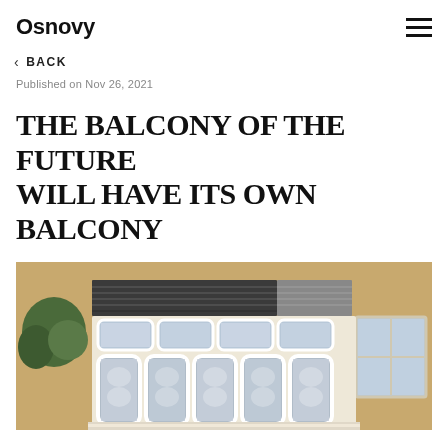Osnovy
< BACK
Published on Nov 26, 2021
THE BALCONY OF THE FUTURE WILL HAVE ITS OWN BALCONY
[Figure (photo): Exterior photograph of a Soviet-era apartment building facade showing an enclosed balcony with ornate white lace curtains behind glass panels, framed by decorative white mouldings. Above the balcony is a dark grey/charcoal metal cladding section. To the left is a tree and on the right a plain rectangular window.]